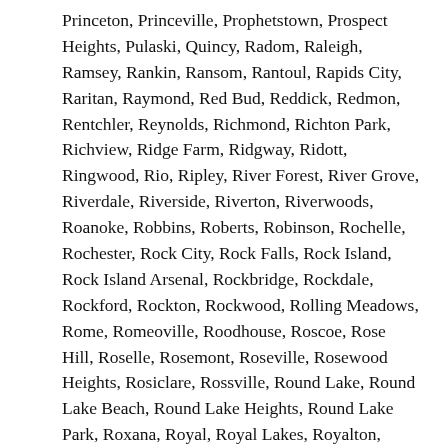Princeton, Princeville, Prophetstown, Prospect Heights, Pulaski, Quincy, Radom, Raleigh, Ramsey, Rankin, Ransom, Rantoul, Rapids City, Raritan, Raymond, Red Bud, Reddick, Redmon, Rentchler, Reynolds, Richmond, Richton Park, Richview, Ridge Farm, Ridgway, Ridott, Ringwood, Rio, Ripley, River Forest, River Grove, Riverdale, Riverside, Riverton, Riverwoods, Roanoke, Robbins, Roberts, Robinson, Rochelle, Rochester, Rock City, Rock Falls, Rock Island, Rock Island Arsenal, Rockbridge, Rockdale, Rockford, Rockton, Rockwood, Rolling Meadows, Rome, Romeoville, Roodhouse, Roscoe, Rose Hill, Roselle, Rosemont, Roseville, Rosewood Heights, Rosiclare, Rossville, Round Lake, Round Lake Beach, Round Lake Heights, Round Lake Park, Roxana, Royal, Royal Lakes, Royalton, Ruma, Rushville, Russellville, Rutland, Sadorus, Sailor Springs, Salem, Sammons Point, San Jose, Sandoval, Sandwich, Sauget, Sauk Village, Saunemin, Savanna, Savoy,